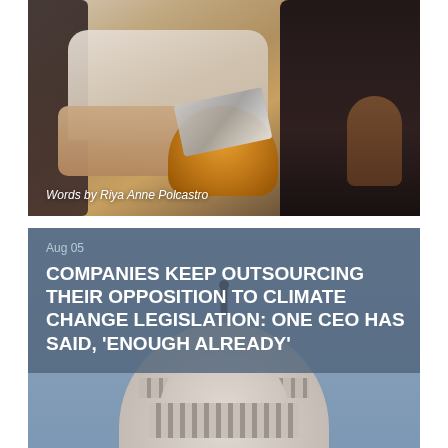[Figure (photo): Person sitting in a chair next to a small round wooden table with a laptop on it, next to a dark leather sofa. A second person is partially visible on the right.]
Words by Riya Anne Polcastro
Aug 05
COMPANIES KEEP OUTSOURCING THEIR OPPOSITION TO CLIMATE CHANGE LEGISLATION: ONE CEO HAS SAID, 'ENOUGH ALREADY'
[Figure (photo): Capitol building dome against a blue-grey sky with a statue visible at the top.]